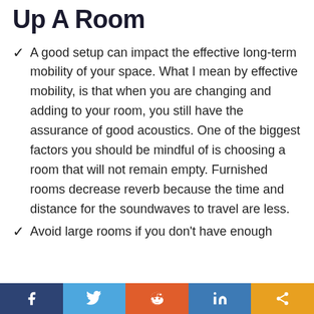Up A Room
A good setup can impact the effective long-term mobility of your space. What I mean by effective mobility, is that when you are changing and adding to your room, you still have the assurance of good acoustics. One of the biggest factors you should be mindful of is choosing a room that will not remain empty. Furnished rooms decrease reverb because the time and distance for the soundwaves to travel are less.
Avoid large rooms if you don't have enough
f  [twitter]  [reddit]  in  [share]